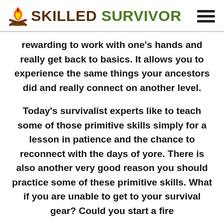[Figure (logo): Skilled Survivor logo with flame and campfire icon, text SKILLED in dark brown and SURVIVOR in green, with hamburger menu icon on the right]
rewarding to work with one’s hands and really get back to basics. It allows you to experience the same things your ancestors did and really connect on another level.
Today’s survivalist experts like to teach some of those primitive skills simply for a lesson in patience and the chance to reconnect with the days of yore. There is also another very good reason you should practice some of these primitive skills. What if you are unable to get to your survival gear? Could you start a fire